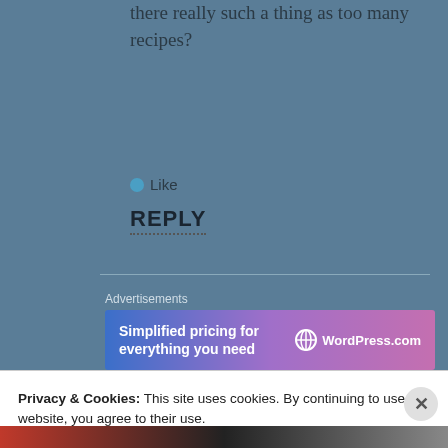there really such a thing as too many recipes?
Like
REPLY
Advertisements
[Figure (screenshot): WordPress.com advertisement banner: 'Simplified pricing for everything you need' with WordPress.com logo]
Domestic Goddess said:
May 26, 2012 at 1:04 am
Privacy & Cookies: This site uses cookies. By continuing to use this website, you agree to their use.
To find out more, including how to control cookies, see here: Cookie Policy
Close and accept